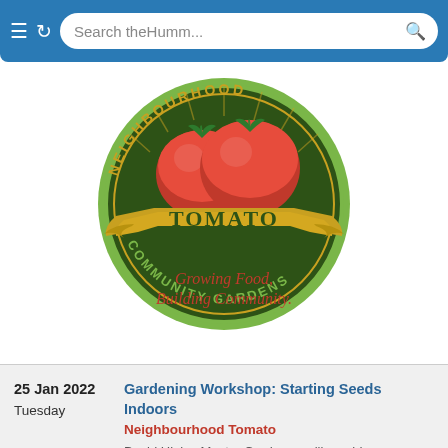[Figure (screenshot): Mobile browser bar with hamburger menu icon, refresh icon, and search box reading 'Search theHumm...' with a search icon]
[Figure (logo): Neighbourhood Tomato Community Gardens logo — circular dark green badge with two red tomatoes, gold banner reading TOMATO, text COMMUNITY GARDENS around the bottom, and cursive tagline 'Growing Food, Building Community.']
25 Jan 2022
Tuesday
Gardening Workshop: Starting Seeds Indoors
Neighbourhood Tomato
David Hinks, Master Gardener, will provide descriptions of suitable materials, timing of planting for different vegetables, care of seedlings and preparing seedlings for transition to the